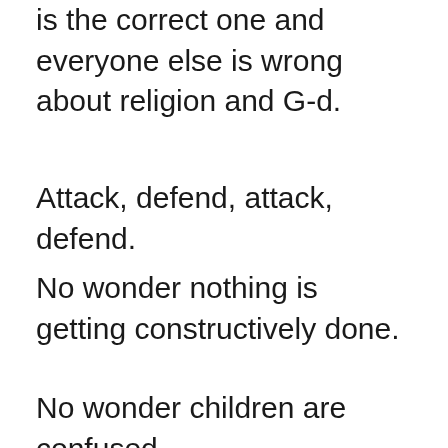is the correct one and everyone else is wrong about religion and G-d.
Attack, defend, attack, defend.
No wonder nothing is getting constructively done.
No wonder children are confused.